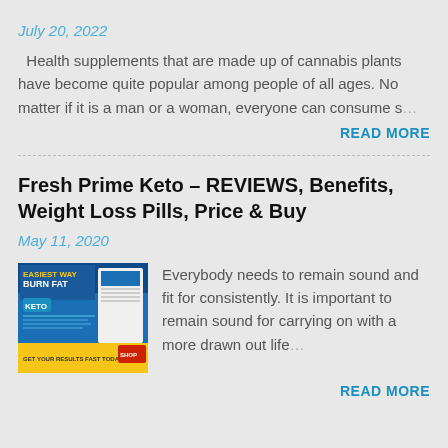July 20, 2022
Health supplements that are made up of cannabis plants have become quite popular among people of all ages. No matter if it is a man or a woman, everyone can consume s…
READ MORE
Fresh Prime Keto – REVIEWS, Benefits, Weight Loss Pills, Price & Buy
May 11, 2020
[Figure (photo): Product image showing 'Easiest Way Burn Fat Keto' supplement advertisement with blue and yellow branding]
Everybody needs to remain sound and fit for consistently. It is important to remain sound for carrying on with a more drawn out life…
READ MORE